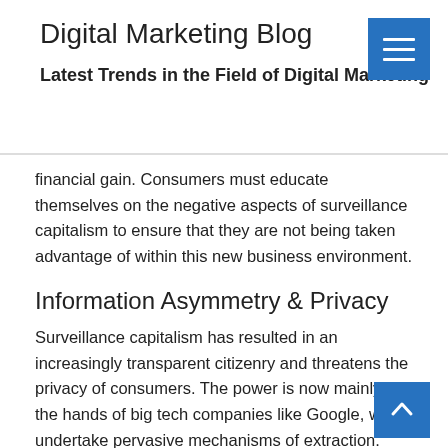Digital Marketing Blog
Latest Trends in the Field of Digital Marketing
financial gain. Consumers must educate themselves on the negative aspects of surveillance capitalism to ensure that they are not being taken advantage of within this new business environment.
Information Asymmetry & Privacy
Surveillance capitalism has resulted in an increasingly transparent citizenry and threatens the privacy of consumers. The power is now mainly in the hands of big tech companies like Google, who undertake pervasive mechanisms of extraction. This creates a substantial information asymmetry between the consumer and the firm, reducing consumers' awareness and understanding of these invasive data